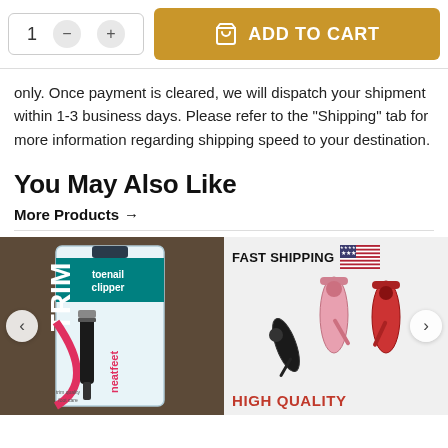[Figure (screenshot): Quantity selector with minus and plus buttons showing '1', and a gold 'ADD TO CART' button with shopping bag icon]
only. Once payment is cleared, we will dispatch your shipment within 1-3 business days. Please refer to the "Shipping" tab for more information regarding shipping speed to your destination.
You May Also Like
More Products →
[Figure (photo): TRIM brand neatfeet toenail clipper product in packaging, dark brown background]
[Figure (photo): Product image showing airbrush tools with 'FAST SHIPPING' text, US flag, and 'HIGH QUALITY' text in red]